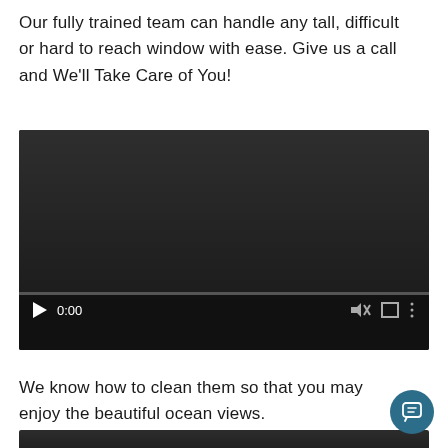Our fully trained team can handle any tall, difficult or hard to reach window with ease. Give us a call and We'll Take Care of You!
[Figure (screenshot): Embedded video player with dark background, showing playback controls: play button, time display '0:00', muted icon, fullscreen icon, and more options icon. A progress bar is visible at the bottom.]
We know how to clean them so that you may enjoy the beautiful ocean views.
[Figure (screenshot): Partial view of a second video player with dark background, cropped at bottom of page.]